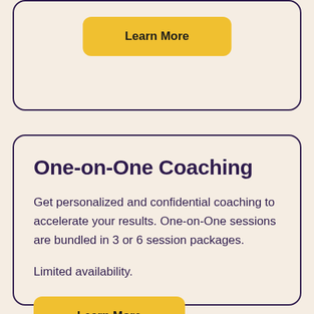Learn More
One-on-One Coaching
Get personalized and confidential coaching to accelerate your results. One-on-One sessions are bundled in 3 or 6 session packages.
Limited availability.
Learn More